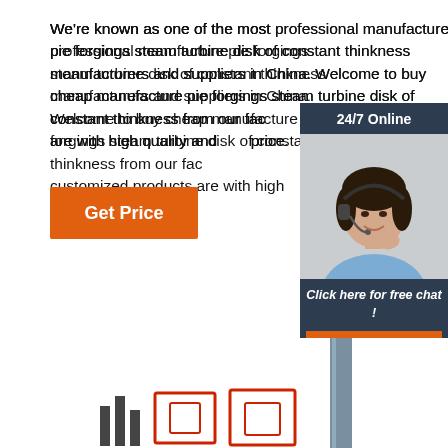We're known as one of the most professional manufacture pie forgings steam turbine disk of constant thinkness manufacturers and suppliers in China. Welcome to buy cheap manufacture pie forgings steam turbine disk of constant thinkness from our factory. All customized products are with high quality and competitive price.
[Figure (other): Orange 'Get Price' button]
[Figure (other): 24/7 Online chat widget with agent photo, 'Click here for free chat!' text, and orange QUOTATION button]
[Figure (photo): Partial product image at the bottom of the page showing what appears to be industrial forgings/turbine parts]